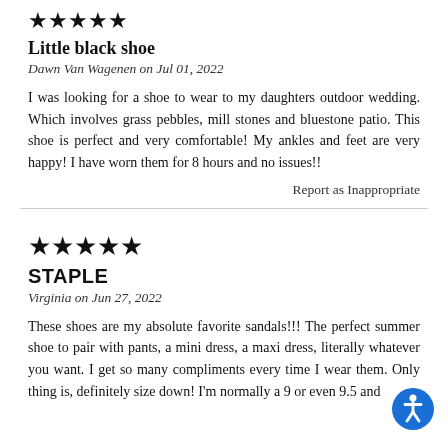[Figure (other): Five black star rating icons (partial view at top)]
Little black shoe
Dawn Van Wagenen on Jul 01, 2022
I was looking for a shoe to wear to my daughters outdoor wedding. Which involves grass pebbles, mill stones and bluestone patio. This shoe is perfect and very comfortable! My ankles and feet are very happy! I have worn them for 8 hours and no issues!!
Report as Inappropriate
[Figure (other): Five filled black star rating icons]
STAPLE
Virginia on Jun 27, 2022
These shoes are my absolute favorite sandals!!! The perfect summer shoe to pair with pants, a mini dress, a maxi dress, literally whatever you want. I get so many compliments every time I wear them. Only thing is, definitely size down! I'm normally a 9 or even 9.5 and
[Figure (other): Blue circular accessibility icon button in bottom right corner]